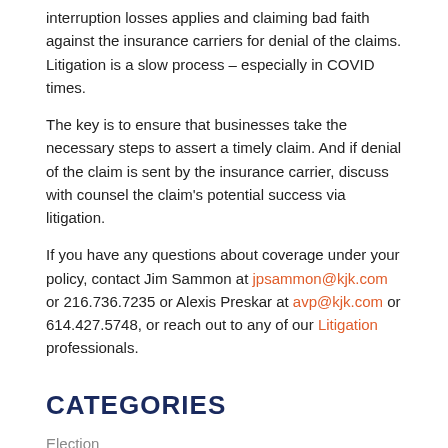interruption losses applies and claiming bad faith against the insurance carriers for denial of the claims. Litigation is a slow process – especially in COVID times.
The key is to ensure that businesses take the necessary steps to assert a timely claim. And if denial of the claim is sent by the insurance carrier, discuss with counsel the claim's potential success via litigation.
If you have any questions about coverage under your policy, contact Jim Sammon at jpsammon@kjk.com or 216.736.7235 or Alexis Preskar at avp@kjk.com or 614.427.5748, or reach out to any of our Litigation professionals.
CATEGORIES
Election
Employment